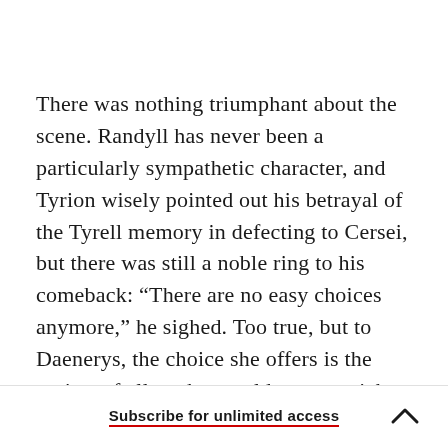There was nothing triumphant about the scene. Randyll has never been a particularly sympathetic character, and Tyrion wisely pointed out his betrayal of the Tyrell memory in defecting to Cersei, but there was still a noble ring to his comeback: “There are no easy choices anymore,” he sighed. Too true, but to Daenerys, the choice she offers is the easiest of all—why would anyone pick death over the freedom she offers? Especially as it’s
Subscribe for unlimited access